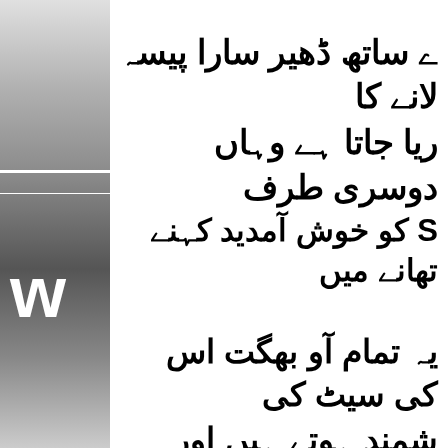[Figure (other): Left side decorative panel with grey gradient background and large white letter W]
ے ساتھ ڈھیر سارا پیسہ لانے کا
ریا جاتا ہے وہاں دوسری طرف
S کو خوش آمدید کہنے تھانے میں
یہ تمام آو بھگت اس کی سیٹ کی
شمند ہوتے ہیں اور وقتن فوقتن
کے کے